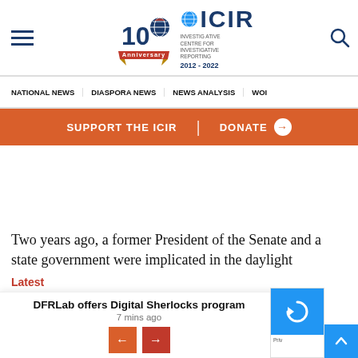[Figure (logo): ICIR 10th Anniversary logo with globe icon and ICIR branding, 2012-2022]
NATIONAL NEWS  DIASPORA NEWS  NEWS ANALYSIS  WOI
SUPPORT THE ICIR  |  DONATE
Two years ago, a former President of the Senate and a state government were implicated in the daylight
Latest
DFRLab offers Digital Sherlocks program
7 mins ago